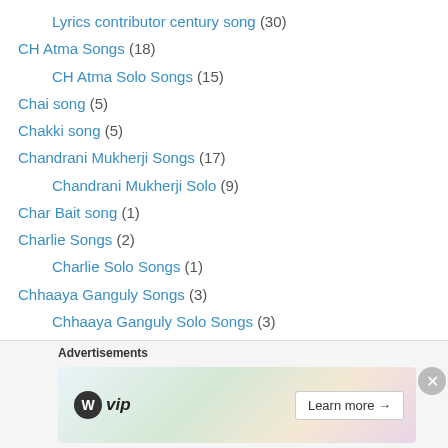Lyrics contributor century song (30)
CH Atma Songs (18)
CH Atma Solo Songs (15)
Chai song (5)
Chakki song (5)
Chandrani Mukherji Songs (17)
Chandrani Mukherji Solo (9)
Char Bait song (1)
Charlie Songs (2)
Charlie Solo Songs (1)
Chhaaya Ganguly Songs (3)
Chhaaya Ganguly Solo Songs (3)
Childhood song (4)
Children's song (121)
Chitra Singh Songs (2)
Chitragupt Songs As A Singer (7)
[Figure (infographic): WordPress VIP advertisement banner with 'Learn more' button]